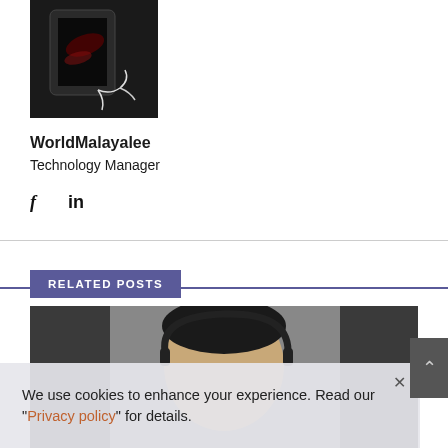[Figure (photo): Dark product photo showing a smartphone or tablet device on a dark background]
WorldMalayalee
Technology Manager
f  in
RELATED POSTS
[Figure (photo): Photo of a person's head, partially cropped, dark background]
We use cookies to enhance your experience. Read our "Privacy policy" for details.